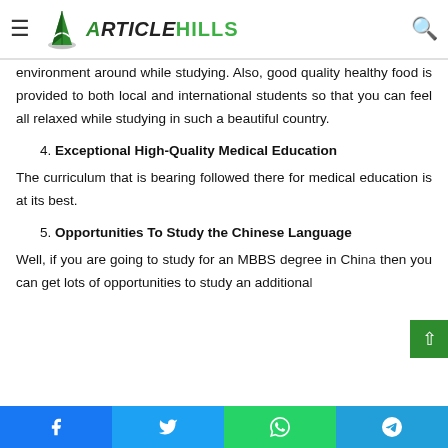ArticleHills
environment around while studying. Also, good quality healthy food is provided to both local and international students so that you can feel all relaxed while studying in such a beautiful country.
4. Exceptional High-Quality Medical Education
The curriculum that is bearing followed there for medical education is at its best.
5. Opportunities To Study the Chinese Language
Well, if you are going to study for an MBBS degree in China then you can get lots of opportunities to study an additional
Facebook Twitter WhatsApp Telegram